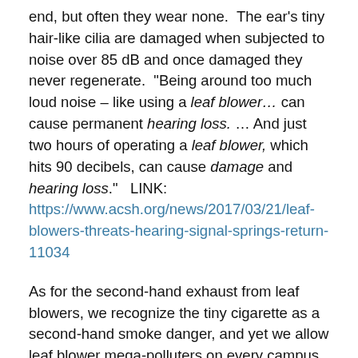end, but often they wear none.  The ear's tiny hair-like cilia are damaged when subjected to noise over 85 dB and once damaged they never regenerate.  "Being around too much loud noise – like using a leaf blower… can cause permanent hearing loss. … And just two hours of operating a leaf blower, which hits 90 decibels, can cause damage and hearing loss."   LINK: https://www.acsh.org/news/2017/03/21/leaf-blowers-threats-hearing-signal-springs-return-11034
As for the second-hand exhaust from leaf blowers, we recognize the tiny cigarette as a second-hand smoke danger, and yet we allow leaf blower mega-polluters on every campus across the country.  Gas leaf blowers are 1,000Xs